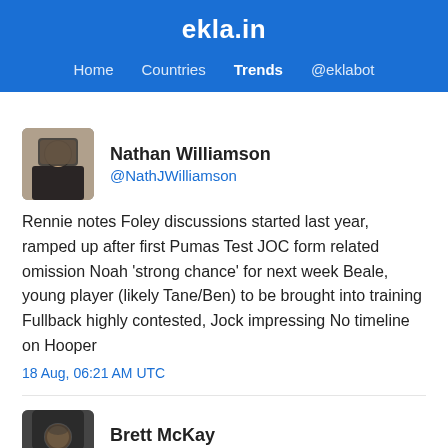ekla.in — Home Countries Trends @eklabot
Nathan Williamson @NathJWilliamson
Rennie notes Foley discussions started last year, ramped up after first Pumas Test JOC form related omission Noah 'strong chance' for next week Beale, young player (likely Tane/Ben) to be brought into training Fullback highly contested, Jock impressing No timeline on Hooper
18 Aug, 06:21 AM UTC
Brett McKay @BMcSport
Good to see some players back from injury, and really